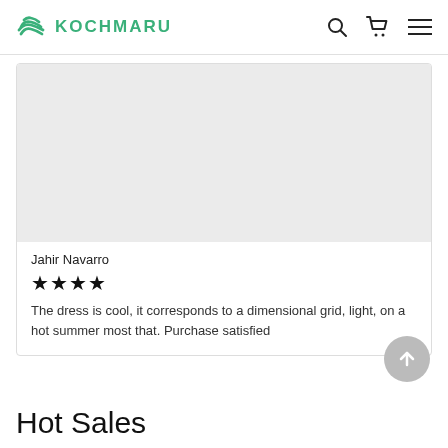KOCHMARU
[Figure (photo): Product image placeholder — light gray rectangle]
Jahir Navarro
★★★★
The dress is cool, it corresponds to a dimensional grid, light, on a hot summer most that. Purchase satisfied
Hot Sales